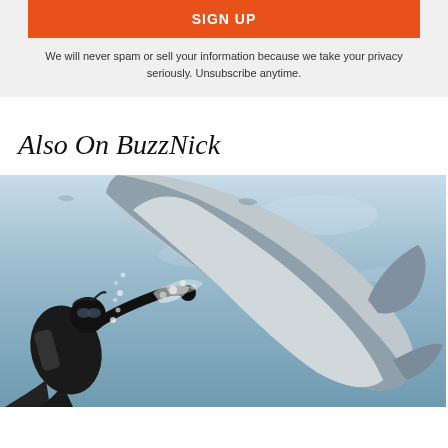SIGN UP
We will never spam or sell your information because we take your privacy seriously. Unsubscribe anytime.
Also On BuzzNick
[Figure (photo): Underwater photo showing a scuba diver in black wetsuit with a large shark swimming overhead, close-up shot from below]